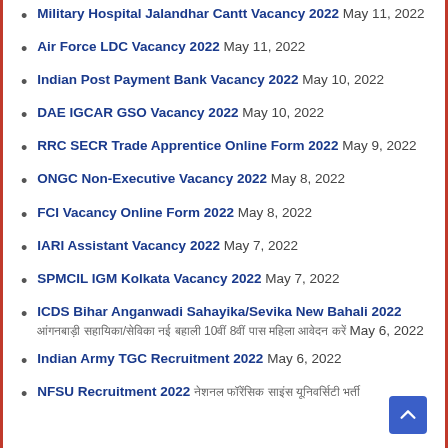Military Hospital Jalandhar Cantt Vacancy 2022 May 11, 2022
Air Force LDC Vacancy 2022 May 11, 2022
Indian Post Payment Bank Vacancy 2022 May 10, 2022
DAE IGCAR GSO Vacancy 2022 May 10, 2022
RRC SECR Trade Apprentice Online Form 2022 May 9, 2022
ONGC Non-Executive Vacancy 2022 May 8, 2022
FCI Vacancy Online Form 2022 May 8, 2022
IARI Assistant Vacancy 2022 May 7, 2022
SPMCIL IGM Kolkata Vacancy 2022 May 7, 2022
ICDS Bihar Anganwadi Sahayika/Sevika New Bahali 2022 [Hindi text] May 6, 2022
Indian Army TGC Recruitment 2022 May 6, 2022
NFSU Recruitment 2022 [Hindi text]